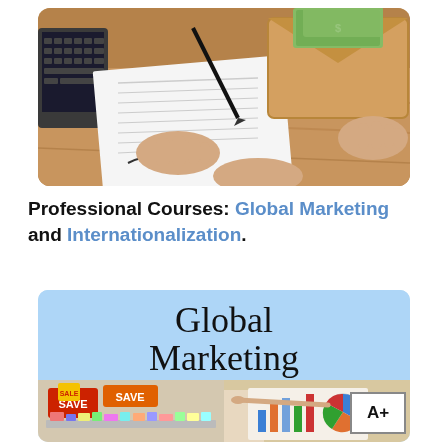[Figure (photo): Photo of hands signing documents on a desk with an envelope containing dollar bills]
Professional Courses: Global Marketing and Internationalization.
[Figure (illustration): Composite image with light blue background showing 'Global Marketing' text, supermarket/retail store save signs on the left, and a person pointing at charts/graphs on the right. A+ badge in lower right corner.]